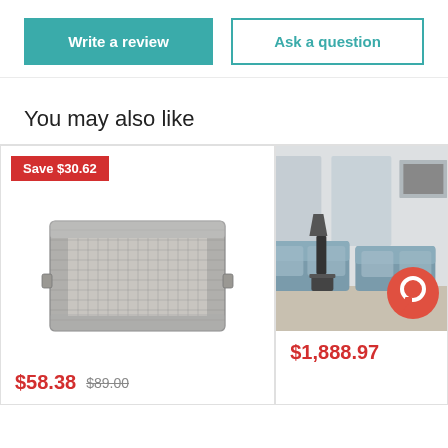Write a review
Ask a question
You may also like
[Figure (photo): Gray wicker/rattan rectangular tray with a Save $30.62 badge, priced at $58.38 (original $89.00)]
[Figure (photo): Living room sofa set in a modern interior, priced at $1,888.97, with a chat bubble icon overlay]